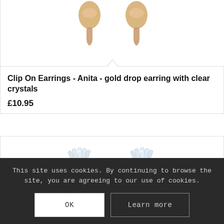[Figure (photo): Partial view of gold drop earrings at top of page, partially scrolled off screen]
Clip On Earrings - Anita - gold drop earring with clear crystals
£10.95
[Figure (photo): Crystal cluster clip-on earrings, clear/silver baguette and round crystals in a fan/spray arrangement, shown as a pair]
This site uses cookies. By continuing to browse the site, you are agreeing to our use of cookies.
OK
Learn more